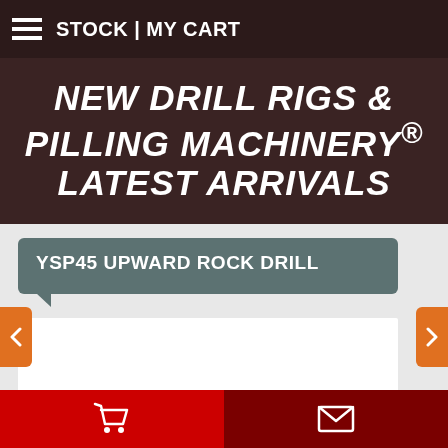STOCK | MY CART
NEW DRILL RIGS & PILLING MACHINERY® LATEST ARRIVALS
[Figure (screenshot): Product carousel showing 'YSP45 UPWARD ROCK DRILL' label on grey background with white product image area below, left and right orange navigation arrows on light grey carousel background]
Cart icon | Envelope icon